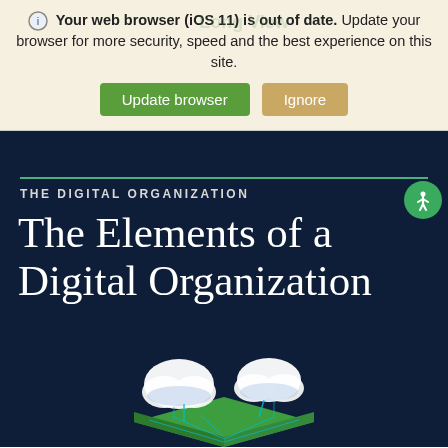Your web browser (iOS 11) is out of date. Update your browser for more security, speed and the best experience on this site.
Update browser   Ignore
THE DIGITAL ORGANIZATION
The Elements of a Digital Organization
[Figure (illustration): Isometric illustration of a digital/cloud computing concept with white cloud shapes and green/teal geometric building blocks]